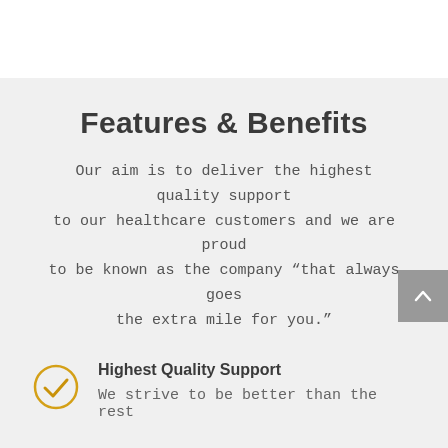Features & Benefits
Our aim is to deliver the highest quality support to our healthcare customers and we are proud to be known as the company “that always goes the extra mile for you.”
Highest Quality Support
We strive to be better than the rest